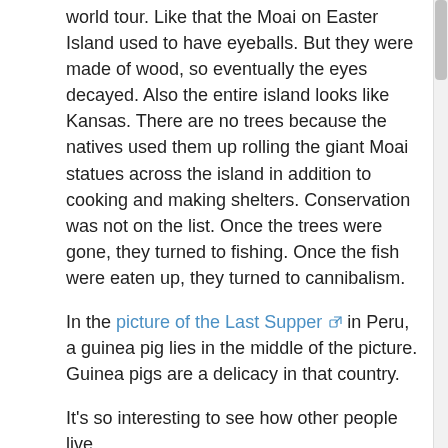world tour.  Like that the Moai on Easter Island used to have eyeballs.  But they were made of wood, so eventually the eyes decayed.  Also the entire island looks like Kansas.  There are no trees because the natives used them up rolling the giant Moai statues across the island in addition to cooking and making shelters.  Conservation was not on the list.  Once the trees were gone, they turned to fishing.  Once the fish were eaten up, they turned to cannibalism.
In the picture of the Last Supper in Peru, a guinea pig lies in the middle of the picture.  Guinea pigs are a delicacy in that country.
It's so interesting to see how other people live.
Recipe:
Speaking of how other people live…. A long time ago (last week) in a galaxy far, far away (in my kitchen)…